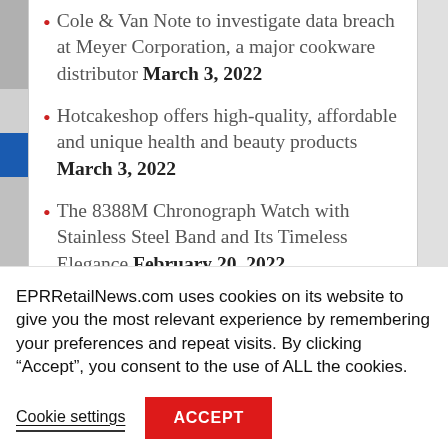Cole & Van Note to investigate data breach at Meyer Corporation, a major cookware distributor March 3, 2022
Hotcakeshop offers high-quality, affordable and unique health and beauty products March 3, 2022
The 8388M Chronograph Watch with Stainless Steel Band and Its Timeless Elegance February 20, 2022
Exipure Reviews December 30, 2021
EPRRetailNews.com uses cookies on its website to give you the most relevant experience by remembering your preferences and repeat visits. By clicking “Accept”, you consent to the use of ALL the cookies.
Cookie settings | ACCEPT